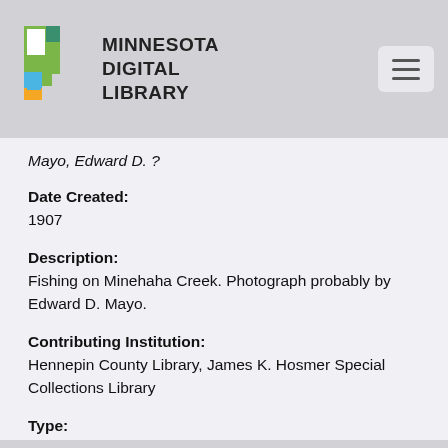MINNESOTA DIGITAL LIBRARY
Mayo, Edward D. ?
Date Created:
1907
Description:
Fishing on Minehaha Creek. Photograph probably by Edward D. Mayo.
Contributing Institution:
Hennepin County Library, James K. Hosmer Special Collections Library
Type:
Still Image
Format:
Stereographs